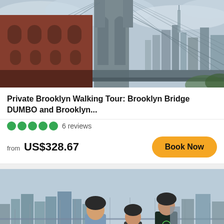[Figure (photo): Photograph of the Brooklyn Bridge from below, showing the massive stone tower and suspension cables against a cloudy sky, with a red brick building on the left and Manhattan skyline in the background.]
Private Brooklyn Walking Tour: Brooklyn Bridge DUMBO and Brooklyn...
●●●●● 6 reviews
from US$328.67
Book Now
[Figure (photo): Photograph of three people wearing bicycle helmets on a bridge walkway with a yellow bicycle visible, city skyline and water visible in the background. One person wears a jacket with 'GUIDE' printed on the back.]